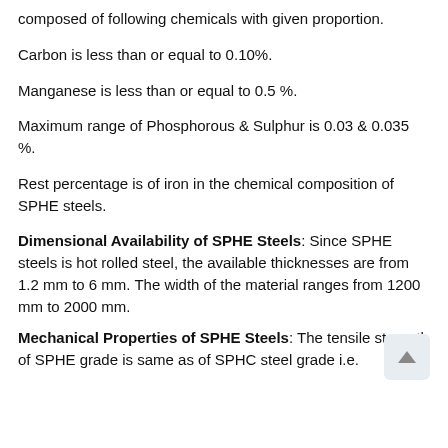composed of following chemicals with given proportion.
Carbon is less than or equal to 0.10%.
Manganese is less than or equal to 0.5 %.
Maximum range of Phosphorous & Sulphur is 0.03 & 0.035 %.
Rest percentage is of iron in the chemical composition of SPHE steels.
Dimensional Availability of SPHE Steels: Since SPHE steels is hot rolled steel, the available thicknesses are from 1.2 mm to 6 mm. The width of the material ranges from 1200 mm to 2000 mm.
Mechanical Properties of SPHE Steels: The tensile strength of SPHE grade is same as of SPHC steel grade i.e.